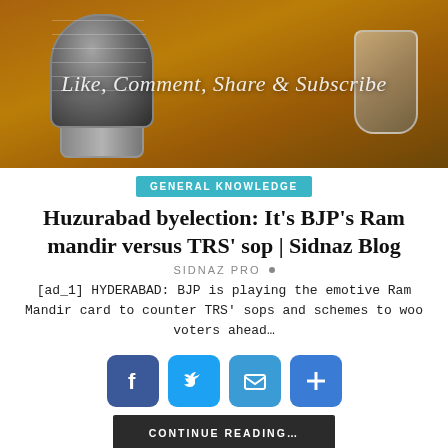[Figure (photo): Blog banner image showing a microphone on an orange/gold background with text 'Like, Comment, Share & Subscribe']
GENERAL KNOWLEDGE
Huzurabad byelection: It's BJP's Ram mandir versus TRS' sop | Sidnaz Blog
SIDNAZ PRO
[ad_1] HYDERABAD: BJP is playing the emotive Ram Mandir card to counter TRS' sops and schemes to woo voters ahead…
[Figure (infographic): Social media share buttons: Facebook, Twitter, Email, Add (plus)]
CONTINUE READING…
[Figure (photo): Bottom blog banner image with dark background showing 'Sidnaz Blog' text and a scroll-to-top button]